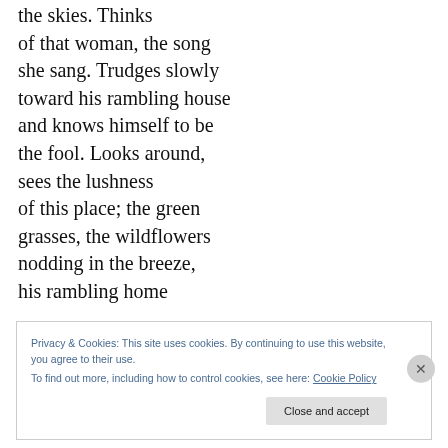the skies. Thinks of that woman, the song she sang. Trudges slowly toward his rambling house and knows himself to be the fool. Looks around, sees the lushness of this place; the green grasses, the wildflowers nodding in the breeze, his rambling home
Privacy & Cookies: This site uses cookies. By continuing to use this website, you agree to their use. To find out more, including how to control cookies, see here: Cookie Policy